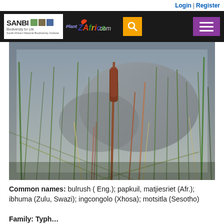Login | Register
[Figure (logo): SANBI and PlantZAfrica.com navigation header with search and menu buttons]
[Figure (photo): Close-up photograph of bulrush (Typha) plant with tall reed-like stems and a characteristic brown cylindrical flower spike, with rocky background]
Common names: bulrush ( Eng.); papkuil, matjiesriet (Afr.); ibhuma (Zulu, Swazi); ingcongolo (Xhosa); motsitla (Sesotho)
Family: Typh...